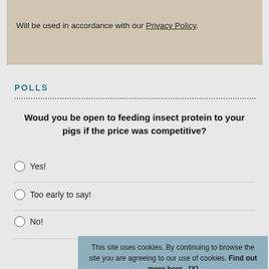Will be used in accordance with our Privacy Policy.
POLLS
Woud you be open to feeding insect protein to your pigs if the price was competitive?
Yes!
Too early to say!
No!
This site uses cookies. By continuing to browse the site you are agreeing to our use of cookies. Find out more here   [X]